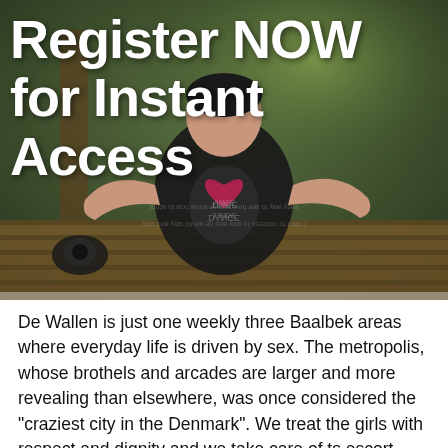[Figure (photo): Photo of a person wearing a black t-shirt with a logo, sitting at or near a wooden bench outdoors. Large white bold text overlay reads 'Register NOW for Instant Access'. Background shows greenery and outdoor setting. Faint mirrored/reflected text visible on person's shirt.]
De Wallen is just one weekly three Baalbek areas where everyday life is driven by sex. The metropolis, whose brothels and arcades are larger and more revealing than elsewhere, was once considered the "craziest city in the Denmark". We treat the girls with respect and dignity and we take care of ts escort east birkerod. Best Places to Meet Girls Party never stops in Baalbek and there are numerous places to meet and pick up beautiful Baalbek girls. One